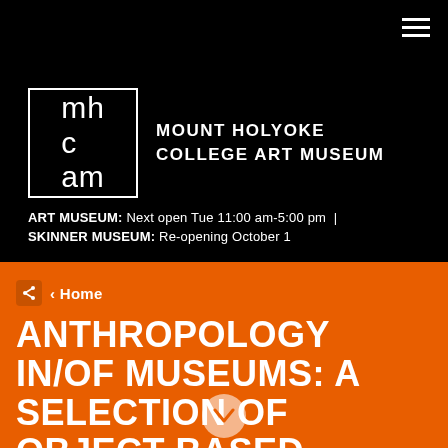[Figure (logo): Mount Holyoke College Art Museum logo — white square border containing 'mh cam' text, with 'MOUNT HOLYOKE COLLEGE ART MUSEUM' text to the right, on black background]
ART MUSEUM: Next open Tue 11:00 am-5:00 pm |
SKINNER MUSEUM: Re-opening October 1
< Home
ANTHROPOLOGY IN/OF MUSEUMS: A SELECTION OF OBJECT-BASED RESEARCH